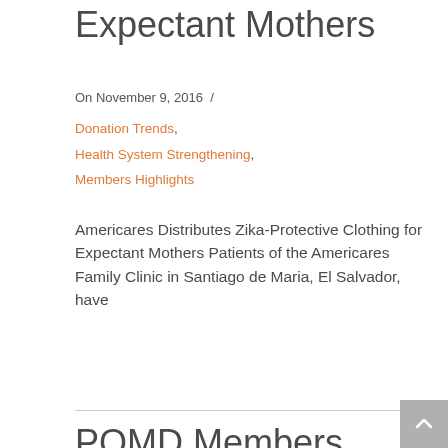Expectant Mothers
On November 9, 2016  /
Donation Trends, Health System Strengthening, Members Highlights
Americares Distributes Zika-Protective Clothing for Expectant Mothers Patients of the Americares Family Clinic in Santiago de Maria, El Salvador, have
Read more →
Back to Top
PQMD Members Direct Relief,